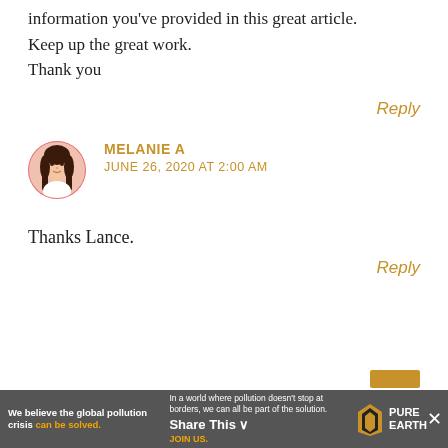information you've provided in this great article. Keep up the great work. Thank you
Reply
MELANIE A
JUNE 26, 2020 AT 2:00 AM
Thanks Lance.
Reply
[Figure (other): Advertisement banner for Pure Earth: 'We believe the global pollution crisis can be solved.' with Share This button]
[Figure (illustration): Avatar of Melanie A - circular avatar with illustration of a woman with long dark hair]